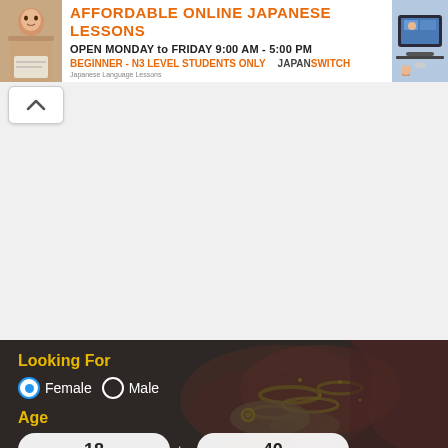[Figure (screenshot): Advertisement banner for JapanSwitch affordable online Japanese lessons. Orange and white banner with text: AFFORDABLE ONLINE JAPANESE LESSONS, OPEN MONDAY to FRIDAY 9:00 AM - 5:00 PM, BEGINNER - N3 LEVEL STUDENTS ONLY. JapanSwitch logo on right. Photos of students on left and right sides.]
[Figure (screenshot): A collapse/hide UI button with an upward caret (chevron up) arrow, white background with light border.]
[Figure (screenshot): Matrimonial website search widget with a background photo of Indian bride hands with bangles and jewelry. Dark overlay. Contains: 'Looking For' label in yellow, Female/Male radio buttons (Female selected in blue), 'Age' label in yellow, age range inputs showing 18 to 40.]